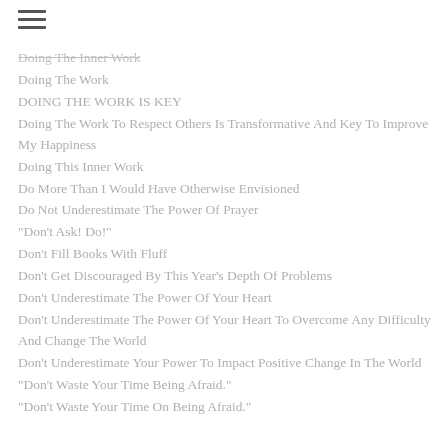Doing The Inner Work
Doing The Work
DOING THE WORK IS KEY
Doing The Work To Respect Others Is Transformative And Key To Improve My Happiness
Doing This Inner Work
Do More Than I Would Have Otherwise Envisioned
Do Not Underestimate The Power Of Prayer
“Don’t Ask! Do!”
Don't Fill Books With Fluff
Don't Get Discouraged By This Year’s Depth Of Problems
Don't Underestimate The Power Of Your Heart
Don't Underestimate The Power Of Your Heart To Overcome Any Difficulty And Change The World
Don't Underestimate Your Power To Impact Positive Change In The World
"Don't Waste Your Time Being Afraid."
"Don't Waste Your Time On Being Afraid."